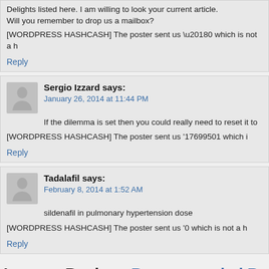Delights listed here. I am willing to look your current article. Will you remember to drop us a mailbox?
[WORDPRESS HASHCASH] The poster sent us ‘0 which is not a h
Reply
Sergio Izzard says:
January 26, 2014 at 11:44 PM
If the dilemma is set then you could really need to reset it to
[WORDPRESS HASHCASH] The poster sent us ‘17699501 which i
Reply
Tadalafil says:
February 8, 2014 at 1:52 AM
sildenafil in pulmonary hypertension dose
[WORDPRESS HASHCASH] The poster sent us ‘0 which is not a h
Reply
Leave a Reply to Recommended Reading